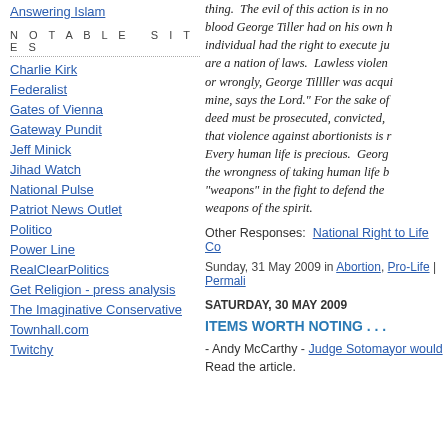Answering Islam
NOTABLE SITES
Charlie Kirk
Federalist
Gates of Vienna
Gateway Pundit
Jeff Minick
Jihad Watch
National Pulse
Patriot News Outlet
Politico
Power Line
RealClearPolitics
Get Religion - press analysis
The Imaginative Conservative
Townhall.com
Twitchy
thing.  The evil of this action is in no blood George Tiller had on his own h individual had the right to execute ju are a nation of laws.  Lawless violen or wrongly, George Tillller was acqui mine, says the Lord." For the sake of deed must be prosecuted, convicted, that violence against abortionists is r Every human life is precious.  Georg the wrongness of taking human life b "weapons" in the fight to defend the weapons of the spirit.
Other Responses:  National Right to Life Co
Sunday, 31 May 2009 in Abortion, Pro-Life | Permali
SATURDAY, 30 MAY 2009
ITEMS WORTH NOTING . . .
- Andy McCarthy - Judge Sotomayor would
Read the article.